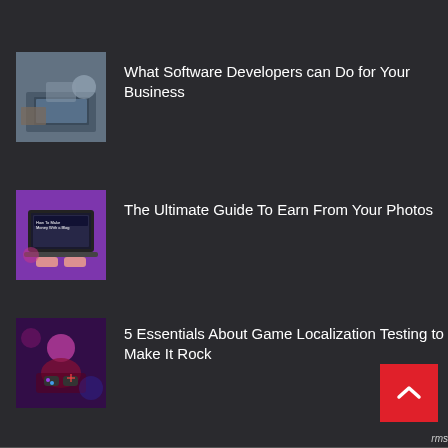[Figure (screenshot): Thumbnail image of people working on laptops for software developer article]
What Software Developers can Do for Your Business
[Figure (screenshot): Thumbnail image of laptop with blog/money making guide on screen with purple background]
The Ultimate Guide To Earn From Your Photos
[Figure (screenshot): Thumbnail image of person with gaming controller, neon purple/pink lighting, game localization]
5 Essentials About Game Localization Testing to Make It Rock